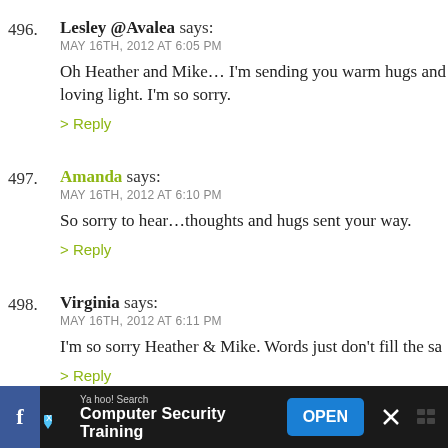496. Lesley @Avalea says: MAY 16TH, 2012 AT 6:05 PM
Oh Heather and Mike... I'm sending you warm hugs and loving light. I'm so sorry.
497. Amanda says: MAY 16TH, 2012 AT 6:10 PM
So sorry to hear...thoughts and hugs sent your way.
498. Virginia says: MAY 16TH, 2012 AT 6:11 PM
I'm so sorry Heather & Mike. Words just don't fill the sa...
499. Alison says: MAY 16TH, 2012 AT 6:11 PM